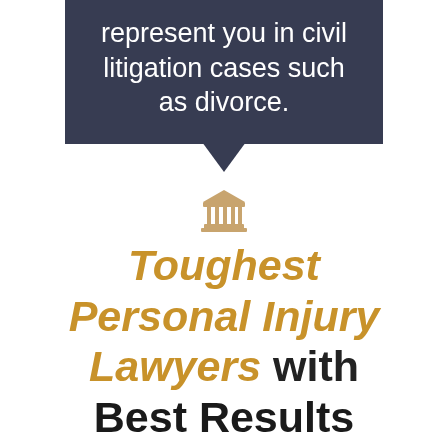represent you in civil litigation cases such as divorce.
[Figure (illustration): A courthouse / bank building icon rendered in a tan/gold color, with columns and a triangular pediment, above the title text.]
Toughest Personal Injury Lawyers with Best Results